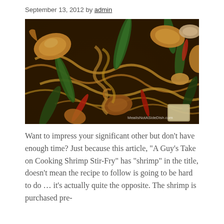September 13, 2012 by admin
[Figure (photo): Close-up photo of shrimp stir-fry with green peppers, red chili peppers, noodles, and vegetables in a dark glossy sauce. Watermark reads MealIsNotASideDish.com]
Want to impress your significant other but don't have enough time? Just because this article, "A Guy's Take on Cooking Shrimp Stir-Fry" has "shrimp" in the title, doesn't mean the recipe to follow is going to be hard to do … it's actually quite the opposite. The shrimp is purchased pre-